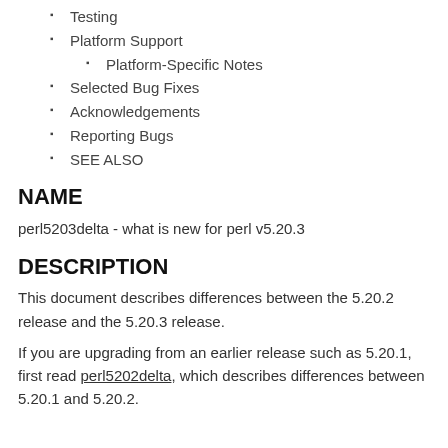Testing
Platform Support
Platform-Specific Notes
Selected Bug Fixes
Acknowledgements
Reporting Bugs
SEE ALSO
NAME
perl5203delta - what is new for perl v5.20.3
DESCRIPTION
This document describes differences between the 5.20.2 release and the 5.20.3 release.
If you are upgrading from an earlier release such as 5.20.1, first read perl5202delta, which describes differences between 5.20.1 and 5.20.2.